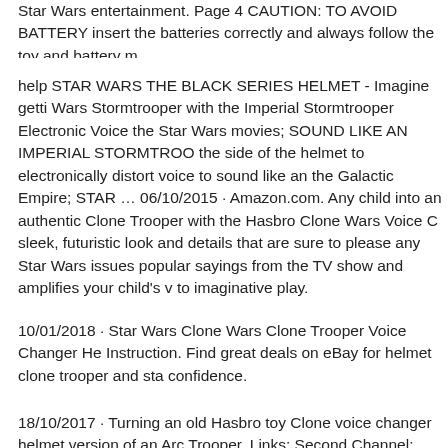Star Wars entertainment. Page 4 CAUTION: TO AVOID BATTERY insert the batteries correctly and always follow the toy and battery m
help STAR WARS THE BLACK SERIES HELMET - Imagine getti Wars Stormtrooper with the Imperial Stormtrooper Electronic Voice the Star Wars movies; SOUND LIKE AN IMPERIAL STORMTROO the side of the helmet to electronically distort voice to sound like an the Galactic Empire; STAR … 06/10/2015 · Amazon.com. Any child into an authentic Clone Trooper with the Hasbro Clone Wars Voice C sleek, futuristic look and details that are sure to please any Star Wars issues popular sayings from the TV show and amplifies your child's v to imaginative play.
10/01/2018 · Star Wars Clone Wars Clone Trooper Voice Changer He Instruction. Find great deals on eBay for helmet clone trooper and sta confidence.
18/10/2017 · Turning an old Hasbro toy Clone voice changer helmet version of an Arc Trooper. Links: Second Channel: http://www.youtu Commands Button3 45 Clone Trooper Phrases Button Radio Static H